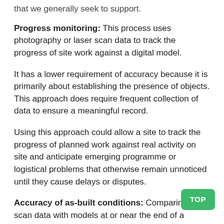that we generally seek to support.
Progress monitoring: This process uses photography or laser scan data to track the progress of site work against a digital model.
It has a lower requirement of accuracy because it is primarily about establishing the presence of objects. This approach does require frequent collection of data to ensure a meaningful record.
Using this approach could allow a site to track the progress of planned work against real activity on site and anticipate emerging programme or logistical problems that otherwise remain unnoticed until they cause delays or disputes.
Accuracy of as-built conditions: Comparing laser scan data with models at or near the end of a project can serve to assist in the production of more accurate asbuilt information. This process can involve a series of scans throughout a site as a project reaches completion to capture what has been built and to make a comparison. The site may need to be scanned and